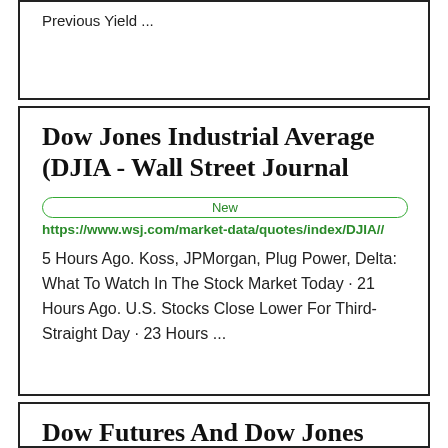Previous Yield ...
Dow Jones Industrial Average (DJIA - Wall Street Journal
New
https://www.wsj.com/market-data/quotes/index/DJIA//
5 Hours Ago. Koss, JPMorgan, Plug Power, Delta: What To Watch In The Stock Market Today · 21 Hours Ago. U.S. Stocks Close Lower For Third-Straight Day · 23 Hours ...
Dow Futures And Dow Jones Today - TheStreet
Trend